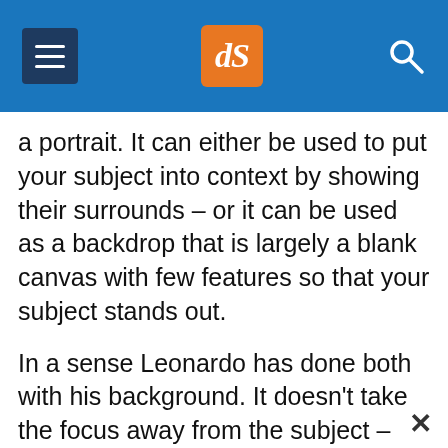dPS navigation header with menu icon, logo (dS), and search icon
a portrait. It can either be used to put your subject into context by showing their surrounds – or it can be used as a backdrop that is largely a blank canvas with few features so that your subject stands out.
In a sense Leonardo has done both with his background. It doesn't take the focus away from the subject – yet the landscape behind her does have an element of mystery and interest to it. It's also visually complementary to the subject with